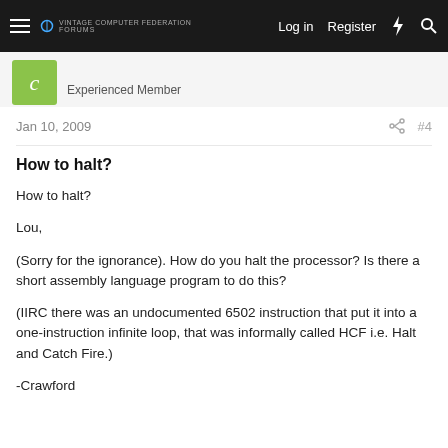Log in  Register
Experienced Member
Jan 10, 2009  #4
How to halt?
How to halt?
Lou,
(Sorry for the ignorance). How do you halt the processor? Is there a short assembly language program to do this?
(IIRC there was an undocumented 6502 instruction that put it into a one-instruction infinite loop, that was informally called HCF i.e. Halt and Catch Fire.)
-Crawford